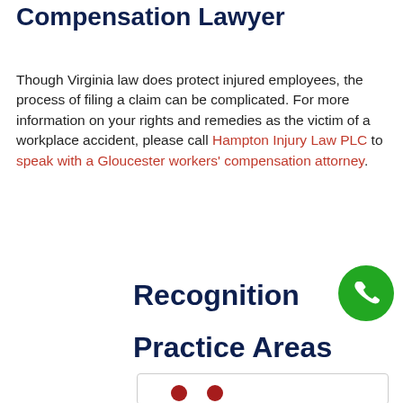Compensation Lawyer
Though Virginia law does protect injured employees, the process of filing a claim can be complicated. For more information on your rights and remedies as the victim of a workplace accident, please call Hampton Injury Law PLC to speak with a Gloucester workers' compensation attorney.
Recognition
Practice Areas